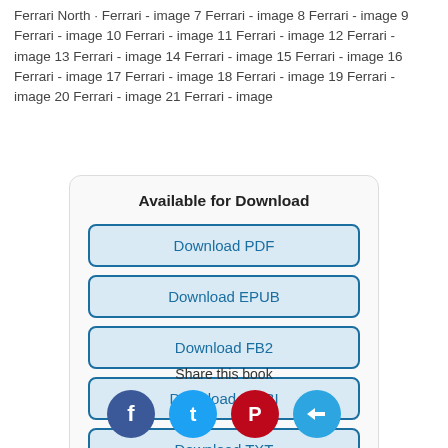Ferrari North · Ferrari - image 7 Ferrari - image 8 Ferrari - image 9 Ferrari - image 10 Ferrari - image 11 Ferrari - image 12 Ferrari - image 13 Ferrari - image 14 Ferrari - image 15 Ferrari - image 16 Ferrari - image 17 Ferrari - image 18 Ferrari - image 19 Ferrari - image 20 Ferrari - image 21 Ferrari - image
Available for Download
Download PDF
Download EPUB
Download FB2
Download MOBI
Download TXT
Share this book
[Figure (infographic): Social share icons: Facebook (blue circle), Twitter (cyan circle), Pinterest (red circle), Telegram (light blue circle)]